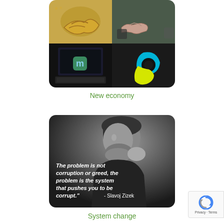[Figure (photo): 2x2 grid collage: top-left gold handshake sculpture, top-right two hands shaking, bottom-left laptop with Linux Mint logo on screen, bottom-right Fairtrade logo (blue and yellow teardrop yin-yang symbol)]
New economy
[Figure (photo): Black and white photo of Slavoj Zizek with white italic bold text overlay: 'The problem is not corruption or greed, the problem is the system that pushes you to be corrupt.' - Slavoj Zizek]
System change